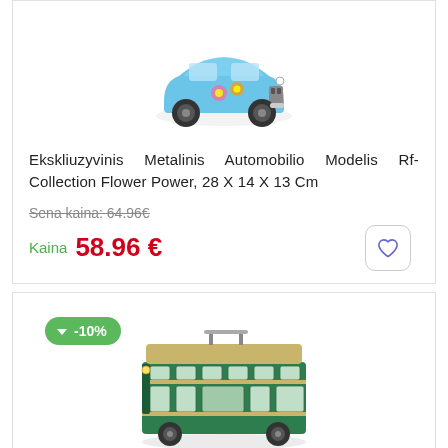[Figure (photo): Blue Mini Cooper toy car model with flower power decorations, viewed from front-right angle]
Ekskliuzyvinis Metalinis Automobilio Modelis Rf-Collection Flower Power, 28 X 14 X 13 Cm
Sena kaina: 64.96€
Kaina 58.96 €
[Figure (photo): Green and cream colored metal tram model, vintage style, viewed from front-right angle]
-10%
Ekskliuzyvinis Metalinis Tramvajaus Modelis Tram Rf-Collection 905298 (32X11X15Cm)